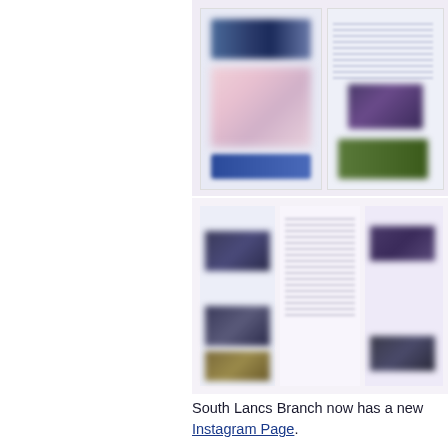[Figure (screenshot): Two blurred screenshots of a newsletter or social media page showing images and text content arranged in columns]
South Lancs Branch now has a new Instagram Page. You'll find links to our each of our